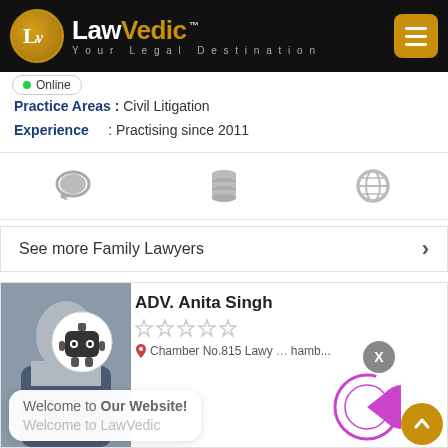[Figure (logo): LawVedic logo with golden circle LV monogram and text 'LawVedic Your Legal Destination' on black header bar with gold menu button]
Online
Practice Areas : Civil Litigation
Experience : Practising since 2011
[Figure (infographic): Three grey icons: chat bubble, database stack, globe]
See more Family Lawyers
ADV. Anita Singh
[Figure (photo): Lawyer profile photo of ADV. Anita Singh with robot chatbot overlay showing 'Welcome to Our Website! Welcome to LawVedic']